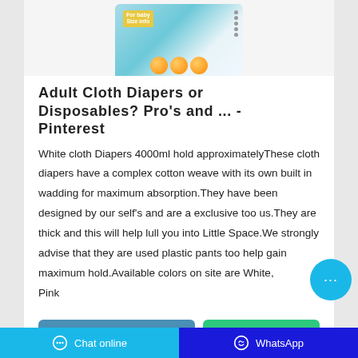[Figure (photo): Product package image of adult cloth diapers with orange/citrus graphics on teal packaging, shown partially from top]
Adult Cloth Diapers or Disposables? Pro's and ... - Pinterest
White cloth Diapers 4000ml hold approximatelyThese cloth diapers have a complex cotton weave with its own built in wadding for maximum absorption.They have been designed by our self's and are a exclusive too us.They are thick and this will help lull you into Little Space.We strongly advise that they are used plastic pants too help gain maximum hold.Available colors on site are White, Pink
Contact the manufacturer
WhatsApp
Chat online   WhatsApp